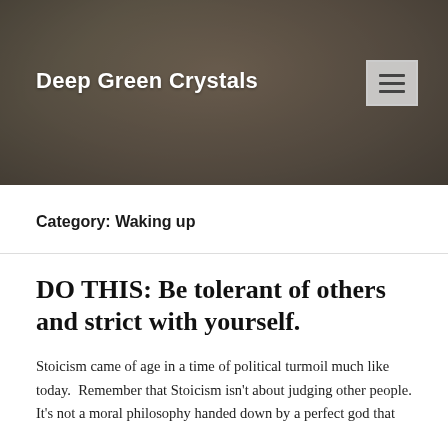[Figure (photo): Header photo of a person in a grey shirt, blurred background with green and neutral tones, used as website banner]
Deep Green Crystals
Category: Waking up
DO THIS: Be tolerant of others and strict with yourself.
Stoicism came of age in a time of political turmoil much like today.  Remember that Stoicism isn't about judging other people. It's not a moral philosophy handed down by a perfect god that